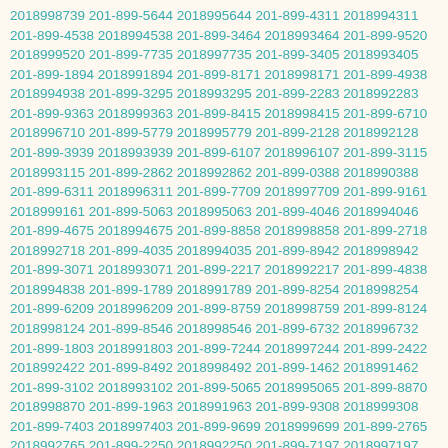2018998739 201-899-5644 2018995644 201-899-4311 2018994311 201-899-4538 2018994538 201-899-3464 2018993464 201-899-9520 2018999520 201-899-7735 2018997735 201-899-3405 2018993405 201-899-1894 2018991894 201-899-8171 2018998171 201-899-4938 2018994938 201-899-3295 2018993295 201-899-2283 2018992283 201-899-9363 2018999363 201-899-8415 2018998415 201-899-6710 2018996710 201-899-5779 2018995779 201-899-2128 2018992128 201-899-3939 2018993939 201-899-6107 2018996107 201-899-3115 2018993115 201-899-2862 2018992862 201-899-0388 2018990388 201-899-6311 2018996311 201-899-7709 2018997709 201-899-9161 2018999161 201-899-5063 2018995063 201-899-4046 2018994046 201-899-4675 2018994675 201-899-8858 2018998858 201-899-2718 2018992718 201-899-4035 2018994035 201-899-8942 2018998942 201-899-3071 2018993071 201-899-2217 2018992217 201-899-4838 2018994838 201-899-1789 2018991789 201-899-8254 2018998254 201-899-6209 2018996209 201-899-8759 2018998759 201-899-8124 2018998124 201-899-8546 2018998546 201-899-6732 2018996732 201-899-1803 2018991803 201-899-7244 2018997244 201-899-2422 2018992422 201-899-8492 2018998492 201-899-1462 2018991462 201-899-3102 2018993102 201-899-5065 2018995065 201-899-8870 2018998870 201-899-1963 2018991963 201-899-9308 2018999308 201-899-7403 2018997403 201-899-9699 2018999699 201-899-2765 2018992765 201-899-2250 2018992250 201-899-7197 2018997197 201-899-3986 2018993986 201-899-9250 2018999250 201-899-8527 2018998527 201-899-5983 2018995983 201-899-3923 2018993923 201-899-8729 2018998729 201-899-8764 2018998764 201-899-6733 2018996733 201-899-9987 2018999987 201-899-2770 2018992770 201-